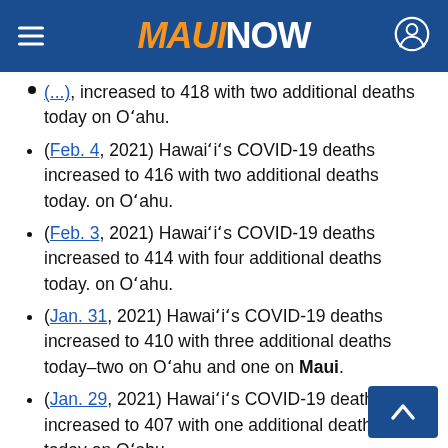MAUI NOW
(...) increased to 418 with two additional deaths today on Oʻahu.
(Feb. 4, 2021) Hawaiʻiʻs COVID-19 deaths increased to 416 with two additional deaths today. on Oʻahu.
(Feb. 3, 2021) Hawaiʻiʻs COVID-19 deaths increased to 414 with four additional deaths today. on Oʻahu.
(Jan. 31, 2021) Hawaiʻiʻs COVID-19 deaths increased to 410 with three additional deaths today–two on Oʻahu and one on Maui.
(Jan. 29, 2021) Hawaiʻiʻs COVID-19 deaths increased to 407 with one additional deaths today on Oʻahu.
(Jan. 28, 2021) Hawaiʻiʻs COVID-19 deat...